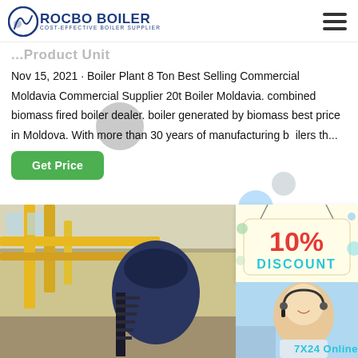ROCBO BOILER — COST-EFFECTIVE BOILER SUPPLIER
...partial title text (truncated)
Nov 15, 2021 · Boiler Plant 8 Ton Best Selling Commercial Moldavia Commercial Supplier 20t Boiler Moldavia. combined biomass fired boiler dealer. boiler generated by biomass best price in Moldova. With more than 30 years of manufacturing boilers th...
[Figure (screenshot): Green 'Get Price' button]
[Figure (photo): Industrial boiler plant interior with yellow pipes and a large blue boiler unit]
[Figure (infographic): 10% DISCOUNT badge in red and cyan text on cream background]
[Figure (photo): Female customer service agent wearing headset, smiling]
7X24 Online